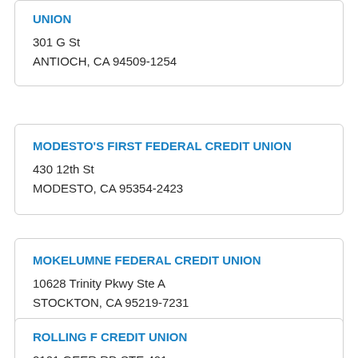UNION
301 G St
ANTIOCH, CA 94509-1254
MODESTO'S FIRST FEDERAL CREDIT UNION
430 12th St
MODESTO, CA 95354-2423
MOKELUMNE FEDERAL CREDIT UNION
10628 Trinity Pkwy Ste A
STOCKTON, CA 95219-7231
ROLLING F CREDIT UNION
2101 GEER RD STE 401